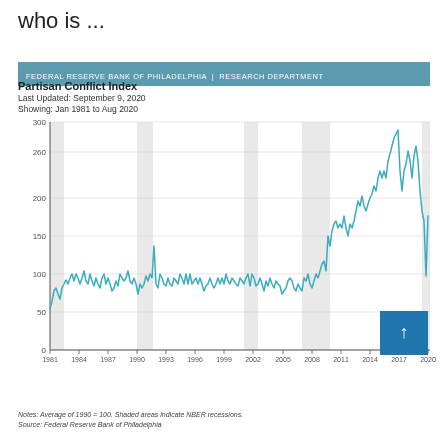who is ...
FEDERAL RESERVE BANK OF PHILADELPHIA | RESEARCH DEPARTMENT
Partisan Conflict Index
Last Updated: September 9, 2020
Showing: Jan 1981 to Aug 2020
[Figure (line-chart): Line chart of Partisan Conflict Index from Jan 1981 to Aug 2020. Y-axis ranges from 0 to 300. Shows relatively stable values around 100 from 1981-2008, then sharp rise from 2011 onwards peaking near 280 around 2017-2018, then declining. Shaded areas indicate NBER recessions.]
Notes: Average of 1990 = 100. Shaded areas indicate NBER recessions.
Source: Federal Reserve Bank of Philadelphia